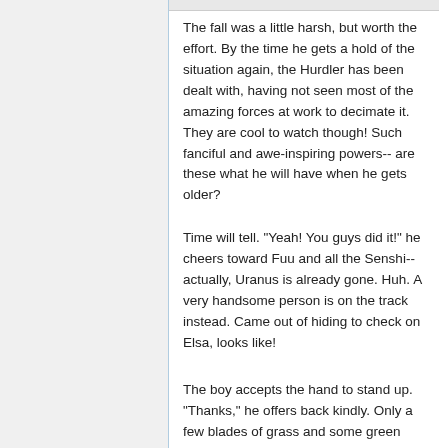The fall was a little harsh, but worth the effort. By the time he gets a hold of the situation again, the Hurdler has been dealt with, having not seen most of the amazing forces at work to decimate it. They are cool to watch though! Such fanciful and awe-inspiring powers-- are these what he will have when he gets older?
Time will tell. "Yeah! You guys did it!" he cheers toward Fuu and all the Senshi-- actually, Uranus is already gone. Huh. A very handsome person is on the track instead. Came out of hiding to check on Elsa, looks like!
The boy accepts the hand to stand up. "Thanks," he offers back kindly. Only a few blades of grass and some green tinting on one knee are all that comes